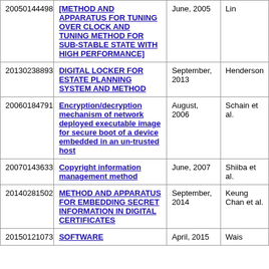|  | Title | Date | Inventor |
| --- | --- | --- | --- |
| 20050144498 | [METHOD AND APPARATUS FOR TUNING OVER CLOCK AND TUNING METHOD FOR SUB-STABLE STATE WITH HIGH PERFORMANCE] | June, 2005 | Lin |
| 20130238893 | DIGITAL LOCKER FOR ESTATE PLANNING SYSTEM AND METHOD | September, 2013 | Henderson |
| 20060184791 | Encryption/decryption mechanism of network deployed executable image for secure boot of a device embedded in an un-trusted host | August, 2006 | Schain et al. |
| 20070143633 | Copyright information management method | June, 2007 | Shiiba et al. |
| 20140281502 | METHOD AND APPARATUS FOR EMBEDDING SECRET INFORMATION IN DIGITAL CERTIFICATES | September, 2014 | Keung Chan et al. |
| 20150121073 | SOFTWARE | April, 2015 | Wais |